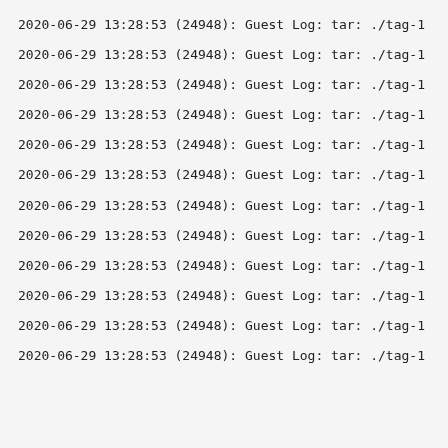2020-06-29 13:28:53 (24948): Guest Log: tar: ./tag-1
2020-06-29 13:28:53 (24948): Guest Log: tar: ./tag-1
2020-06-29 13:28:53 (24948): Guest Log: tar: ./tag-1
2020-06-29 13:28:53 (24948): Guest Log: tar: ./tag-1
2020-06-29 13:28:53 (24948): Guest Log: tar: ./tag-1
2020-06-29 13:28:53 (24948): Guest Log: tar: ./tag-1
2020-06-29 13:28:53 (24948): Guest Log: tar: ./tag-1
2020-06-29 13:28:53 (24948): Guest Log: tar: ./tag-1
2020-06-29 13:28:53 (24948): Guest Log: tar: ./tag-1
2020-06-29 13:28:53 (24948): Guest Log: tar: ./tag-1
2020-06-29 13:28:53 (24948): Guest Log: tar: ./tag-1
2020-06-29 13:28:53 (24948): Guest Log: tar: ./tag-1